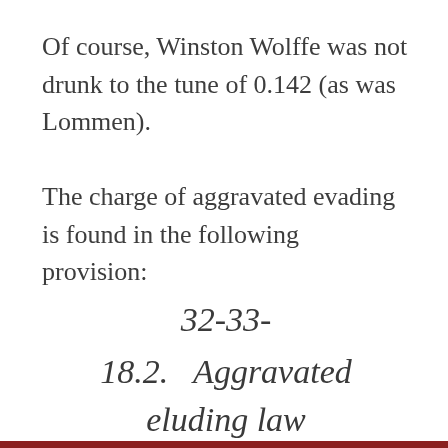Of course, Winston Wolffe was not drunk to the tune of 0.142 (as was Lommen).
The charge of aggravated evading is found in the following provision:
32-33-
18.2.  Aggravated eluding law